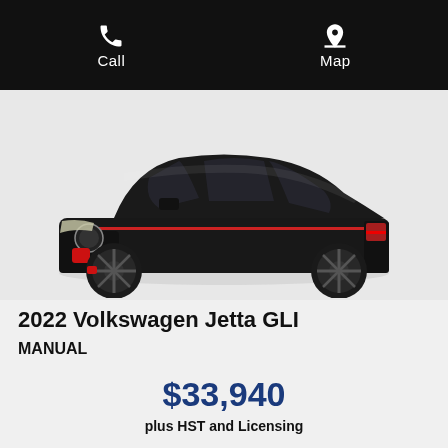Call    Map
[Figure (photo): Black 2022 Volkswagen Jetta GLI front three-quarter view with red accent details and black wheels on white background]
2022 Volkswagen Jetta GLI
MANUAL
$33,940
plus HST and Licensing